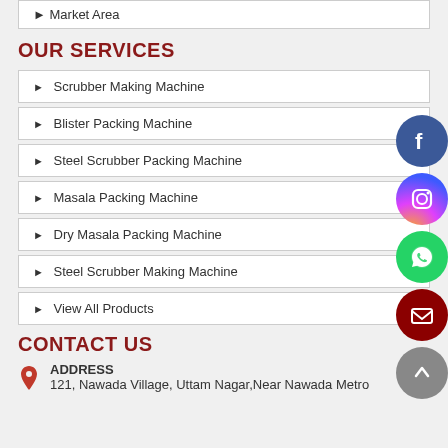▶ Market Area
OUR SERVICES
▶ Scrubber Making Machine
▶ Blister Packing Machine
▶ Steel Scrubber Packing Machine
▶ Masala Packing Machine
▶ Dry Masala Packing Machine
▶ Steel Scrubber Making Machine
▶ View All Products
CONTACT US
ADDRESS
121, Nawada Village, Uttam Nagar, Near Nawada Metro